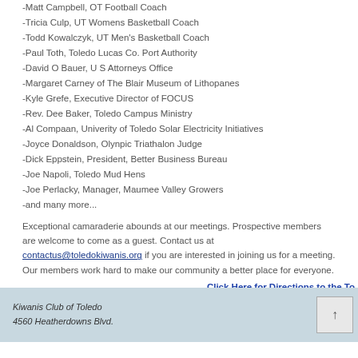-Matt Campbell, OT Football Coach
-Tricia Culp, UT Womens Basketball Coach
-Todd Kowalczyk, UT Men's Basketball Coach
-Paul Toth, Toledo Lucas Co. Port Authority
-David O Bauer, U S Attorneys Office
-Margaret Carney of The Blair Museum of Lithopanes
-Kyle Grefe, Executive Director of FOCUS
-Rev. Dee Baker, Toledo Campus Ministry
-Al Compaan, Univerity of Toledo Solar Electricity Initiatives
-Joyce Donaldson, Olynpic Triathalon Judge
-Dick Eppstein, President, Better Business Bureau
-Joe Napoli, Toledo Mud Hens
-Joe Perlacky, Manager, Maumee Valley Growers
-and many more...
Exceptional camaraderie abounds at our meetings. Prospective members are welcome to come as a guest. Contact us at contactus@toledokiwanis.org if you are interested in joining us for a meeting. Our members work hard to make our community a better place for everyone.
Click Here for Directions to the To
Prev
Next
Kiwanis Club of Toledo
4560 Heatherdowns Blvd.